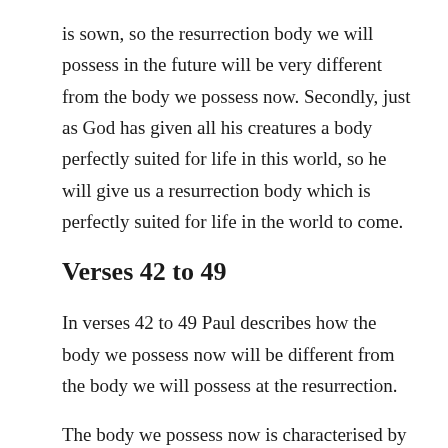is sown, so the resurrection body we will possess in the future will be very different from the body we possess now. Secondly, just as God has given all his creatures a body perfectly suited for life in this world, so he will give us a resurrection body which is perfectly suited for life in the world to come.
Verses 42 to 49
In verses 42 to 49 Paul describes how the body we possess now will be different from the body we will possess at the resurrection.
The body we possess now is characterised by perishability and dishonour and weakness. And since it is characterised by perishability and dishonour and